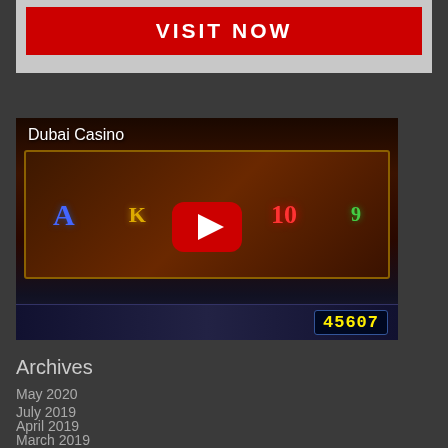[Figure (screenshot): Red VISIT NOW button on a light grey background]
[Figure (screenshot): YouTube video thumbnail showing a Dubai Casino slot machine game with play button overlay. Title says 'Dubai Casino'. Score shows 45607.]
Archives
May 2020
July 2019
April 2019
March 2019
November 2018